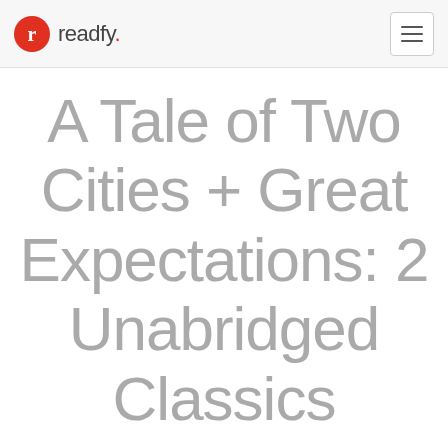r readfy.
A Tale of Two Cities + Great Expectations: 2 Unabridged Classics